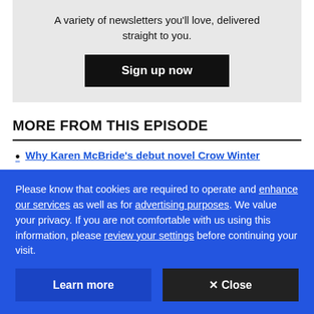A variety of newsletters you'll love, delivered straight to you.
Sign up now
MORE FROM THIS EPISODE
Why Karen McBride's debut novel Crow Winter
Please know that cookies are required to operate and enhance our services as well as for advertising purposes. We value your privacy. If you are not comfortable with us using this information, please review your settings before continuing your visit.
Learn more
✕ Close